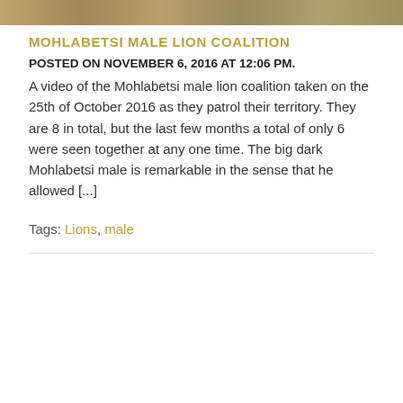[Figure (photo): A cropped wildlife photo strip showing lions or savanna landscape, tan and brown tones.]
MOHLABETSI MALE LION COALITION
POSTED ON NOVEMBER 6, 2016 AT 12:06 PM.
A video of the Mohlabetsi male lion coalition taken on the 25th of October 2016 as they patrol their territory. They are 8 in total, but the last few months a total of only 6 were seen together at any one time. The big dark Mohlabetsi male is remarkable in the sense that he allowed [...]
Tags: Lions, male